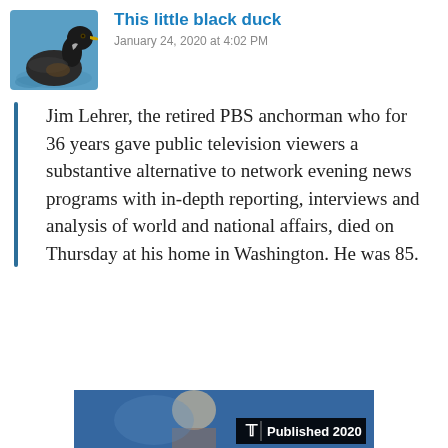[Figure (photo): Profile photo of a duck (black duck) swimming in blue water, used as a social media avatar]
This little black duck
January 24, 2020 at 4:02 PM
Jim Lehrer, the retired PBS anchorman who for 36 years gave public television viewers a substantive alternative to network evening news programs with in-depth reporting, interviews and analysis of world and national affairs, died on Thursday at his home in Washington. He was 85.
[Figure (photo): Partial view of a person (Jim Lehrer) on a blue background with a 'Published 2020' badge overlay from The New York Times]